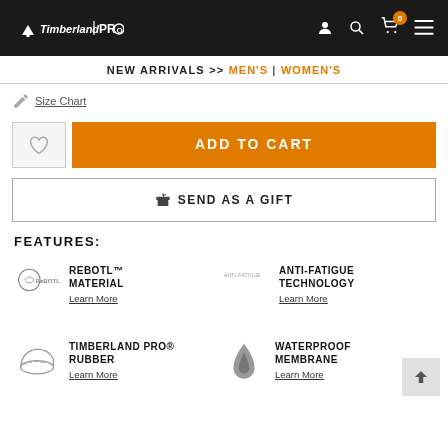Timberland PRO
NEW ARRIVALS >> MEN'S | WOMEN'S
Size Chart
ADD TO CART
SEND AS A GIFT
FEATURES:
REBOTL™ MATERIAL
Learn More
ANTI-FATIGUE TECHNOLOGY
Learn More
TIMBERLAND PRO® RUBBER
Learn More
WATERPROOF MEMBRANE
Learn More